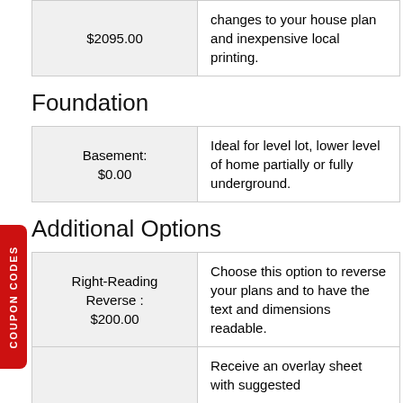| $2095.00 | changes to your house plan and inexpensive local printing. |
Foundation
| Basement:
$0.00 | Ideal for level lot, lower level of home partially or fully underground. |
Additional Options
| Right-Reading Reverse :
$200.00 | Choose this option to reverse your plans and to have the text and dimensions readable. |
|  | Receive an overlay sheet with suggested |